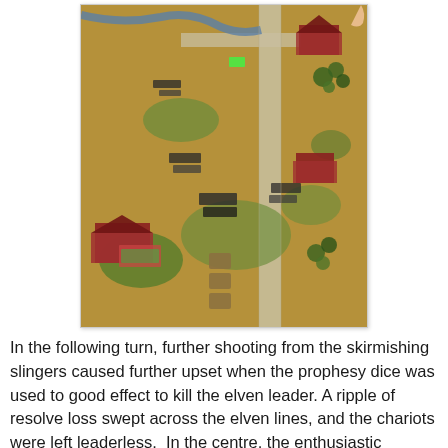[Figure (photo): Overhead view of a miniature wargame battlefield with painted figurines, terrain features including roads, trees, grass patches, and buildings. Units of miniature soldiers, chariots, and other models are arranged across a tan/brown playing surface.]
In the following turn, further shooting from the skirmishing slingers caused further upset when the prophesy dice was used to good effect to kill the elven leader. A ripple of resolve loss swept across the elven lines, and the chariots were left leaderless.  In the centre, the enthusiastic beastling levy were massacred in a melee against the wild